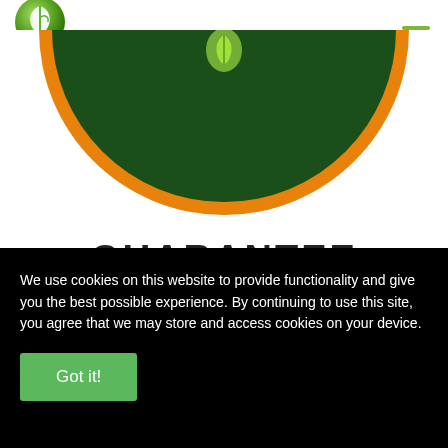[Figure (logo): TCM logo with green leaf icon and green bold text 'TCM']
[Figure (illustration): Partial circular badge with dark green background and orange border, showing a white leaf icon at center-top]
GUARANTEE
We use cookies on this website to provide functionality and give you the best possible experience. By continuing to use this site, you agree that we may store and access cookies on your device.
Got it!